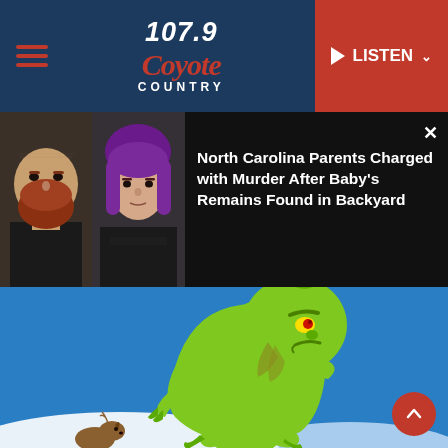107.9 Coyote Country — LISTEN
[Figure (photo): Mugshot photos of two individuals side by side, a man with a red beard on the left and a woman with purple hair on the right, against a dark background]
North Carolina Parents Charged with Murder After Baby's Remains Found in Backyard
[Figure (illustration): Cartoon illustration of the Grinch character running in a sneaking pose against a blue background, with a small dog figure at the bottom left]